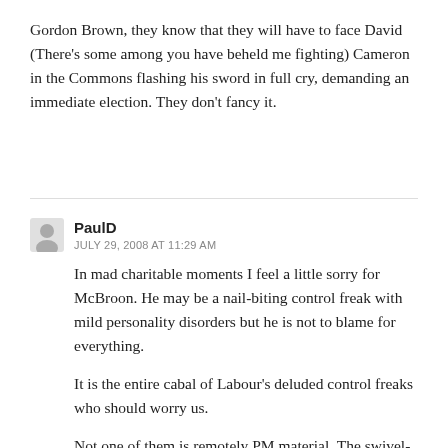Gordon Brown, they know that they will have to face David (There's some among you have beheld me fighting) Cameron in the Commons flashing his sword in full cry, demanding an immediate election. They don't fancy it.
PaulD
JULY 29, 2008 AT 11:29 AM
In mad charitable moments I feel a little sorry for McBroon. He may be a nail-biting control freak with mild personality disorders but he is not to blame for everything.
It is the entire cabal of Labour's deluded control freaks who should worry us.
Not one of them is remotely PM material. The swivel-eyed Balls; the wimps, eco-nuts and clever dicks; the ghastly, bossy wimmin; the stultifyingly correct Harperson who…